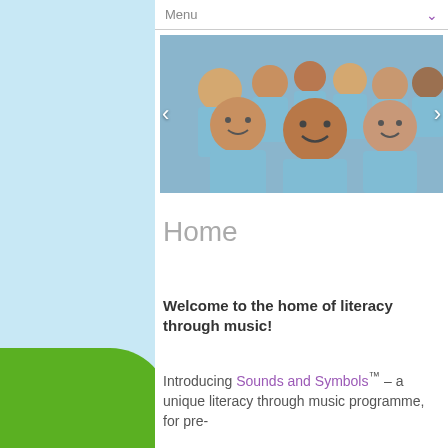Menu
[Figure (photo): Group of young children wearing light blue t-shirts smiling at the camera in a classroom setting. Navigation arrows visible on left and right sides of the slideshow.]
Home
Welcome to the home of literacy through music!
Introducing Sounds and Symbols™ – a unique literacy through music programme, for pre-